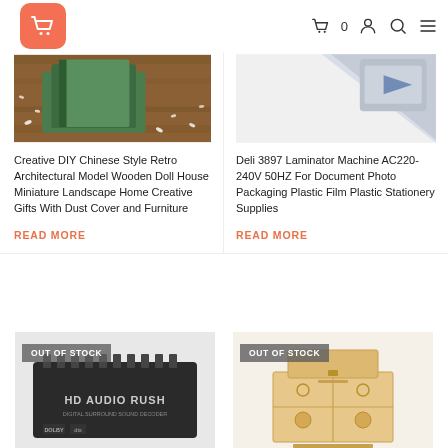Shopping site header with logo and nav icons (cart 0, user, search, menu)
[Figure (photo): Creative DIY Chinese Style Retro Architectural Model Wooden Doll House product image on wooden surface with flowers]
Creative DIY Chinese Style Retro Architectural Model Wooden Doll House Miniature Landscape Home Creative Gifts With Dust Cover and Furniture
READ MORE
[Figure (photo): Deli 3897 Laminator Machine product image showing device corner]
Deli 3897 Laminator Machine AC220-240V 50HZ For Document Photo Packaging Plastic Film Plastic Stationery Supplies
READ MORE
[Figure (photo): HD Audio Rush digital surround sound decoder device, black, OUT OF STOCK]
[Figure (photo): Wooden mechanical puzzle/model box, OUT OF STOCK]